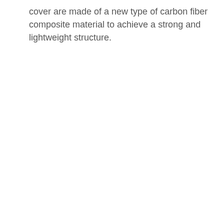cover are made of a new type of carbon fiber composite material to achieve a strong and lightweight structure.